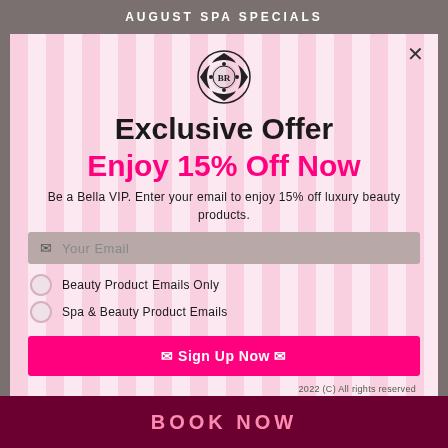AUGUST SPA SPECIALS
Exclusive Offer
Enjoy 15% Off Now
Be a Bella VIP. Enter your email to enjoy 15% off luxury beauty products.
Your Email
Beauty Product Emails Only
Spa & Beauty Product Emails
✉ Sign Up Now ✉
2022 (C) All rights reserved
BOOK NOW